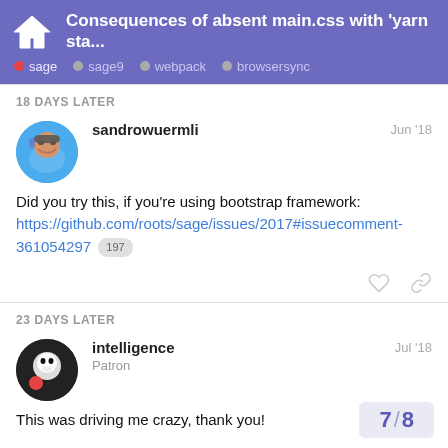Consequences of absent main.css with 'yarn sta... — sage, sage9, webpack, browsersync
18 DAYS LATER
sandrowuermli — Jun '18
Did you try this, if you're using bootstrap framework: https://github.com/roots/sage/issues/2017#issuecomment-361054297 197
23 DAYS LATER
intelligence — Patron — Jul '18
This was driving me crazy, thank you!
7 / 8